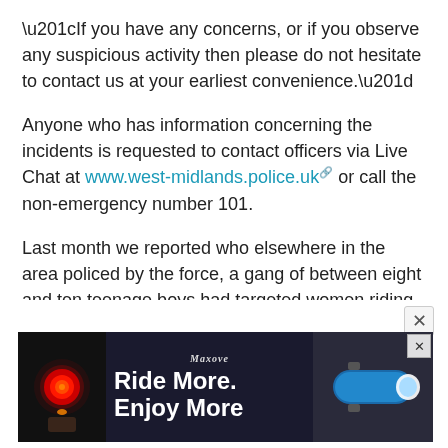“If you have any concerns, or if you observe any suspicious activity then please do not hesitate to contact us at your earliest convenience.”
Anyone who has information concerning the incidents is requested to contact officers via Live Chat at www.west-midlands.police.uk or call the non-emergency number 101.
Last month we reported who elsewhere in the area policed by the force, a gang of between eight and ten teenage boys had targeted women riding on a path alongside a canal there.
[Figure (other): Advertisement banner showing a bicycle rear light glowing red on left side, and a bicycle handlebar light on right side with text 'Ride More. Enjoy More' and a brand name 'Maxove' at top center. Black background.]